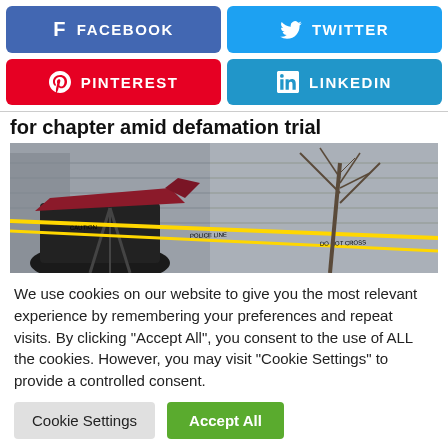[Figure (infographic): Social media share buttons: Facebook (blue), Twitter (light blue), Pinterest (red), LinkedIn (light blue)]
for chapter amid defamation trial
[Figure (photo): Crime scene photo showing police tape (yellow caution tape) strung across the front of a house with a covered item and bare tree visible]
We use cookies on our website to give you the most relevant experience by remembering your preferences and repeat visits. By clicking "Accept All", you consent to the use of ALL the cookies. However, you may visit "Cookie Settings" to provide a controlled consent.
Cookie Settings   Accept All